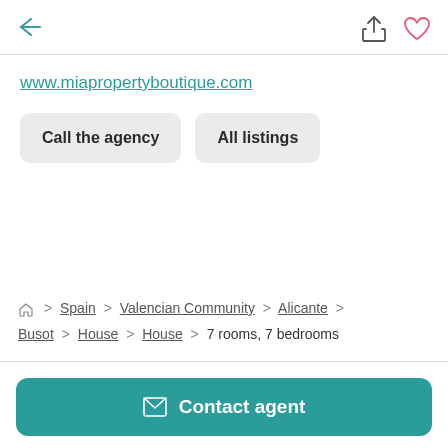← back | share | heart
www.miapropertyboutique.com
Call the agency | All listings
Home > Spain > Valencian Community > Alicante > Busot > House > House > 7 rooms, 7 bedrooms
Contact agent